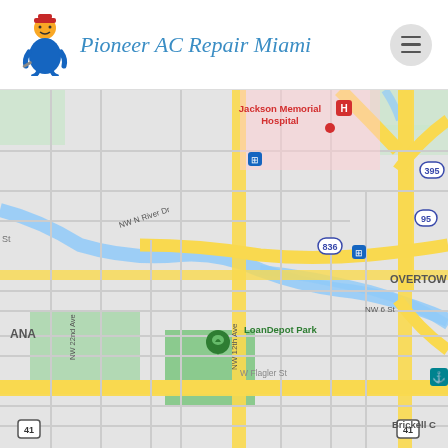Pioneer AC Repair Miami
[Figure (map): Google Maps view of Miami showing neighborhoods: Jackson Memorial Hospital, Spring Garden, East Little Havana, Overtown, Brickell C; streets including NW N River Dr, NW 12th Ave, W Flagler St, NW 8th St, NW 7th St, NW 6 St; landmarks: LoanDepot Park, The Wharf Miami, Calle Ocho Walk of Fame; highways 836, 395, 95; route marker 41. Map pin for Pioneer AC Repair Miami near LoanDepot Park.]